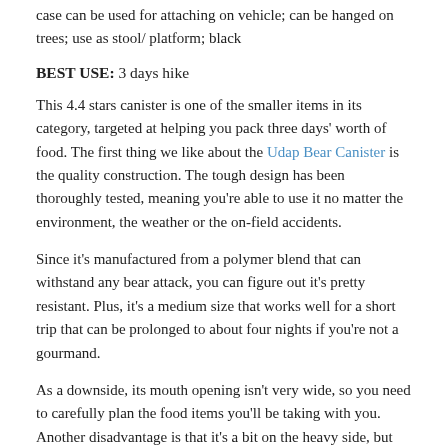case can be used for attaching on vehicle; can be hanged on trees; use as stool/ platform; black
BEST USE: 3 days hike
This 4.4 stars canister is one of the smaller items in its category, targeted at helping you pack three days' worth of food. The first thing we like about the Udap Bear Canister is the quality construction. The tough design has been thoroughly tested, meaning you're able to use it no matter the environment, the weather or the on-field accidents.
Since it's manufactured from a polymer blend that can withstand any bear attack, you can figure out it's pretty resistant. Plus, it's a medium size that works well for a short trip that can be prolonged to about four nights if you're not a gourmand.
As a downside, its mouth opening isn't very wide, so you need to carefully plan the food items you'll be taking with you. Another disadvantage is that it's a bit on the heavy side, but that's a small price to pay for a rugged item such as this one. Also, consider you need a coin to open its lid with, sometimes not even a multi-tool or a knife can help you do this.